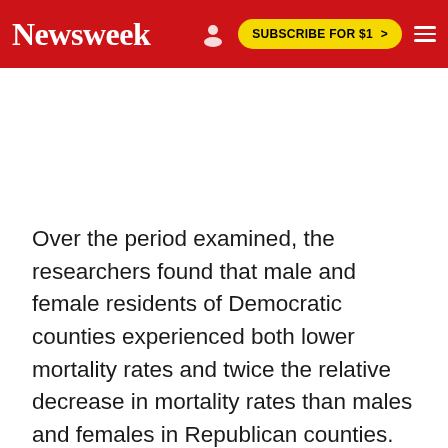Newsweek | SUBSCRIBE FOR $1 >
Over the period examined, the researchers found that male and female residents of Democratic counties experienced both lower mortality rates and twice the relative decrease in mortality rates than males and females in Republican counties.